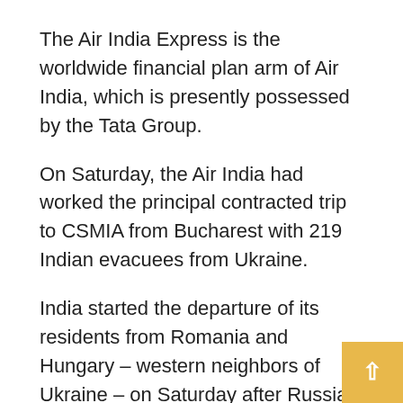The Air India Express is the worldwide financial plan arm of Air India, which is presently possessed by the Tata Group.
On Saturday, the Air India had worked the principal contracted trip to CSMIA from Bucharest with 219 Indian evacuees from Ukraine.
India started the departure of its residents from Romania and Hungary – western neighbors of Ukraine – on Saturday after Russia sent off a tactical hostile there.
Around 14,000 Indians, fundamentally undergrads, were abandoned in Ukraine. PTI
Read Also : Ukraine Crisis : UNGA calls for ceasefire as Moscow, Kyiv agree to another round of talks